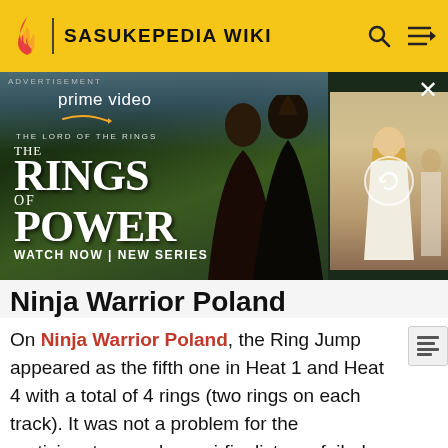SASUKEPEDIA WIKI
[Figure (photo): Amazon Prime Video advertisement for 'The Lord of the Rings: The Rings of Power' series with 'WATCH NOW | NEW SERIES' text and a secondary image panel with refresh icon]
Ninja Warrior Poland
On Ninja Warrior Poland, the Ring Jump appeared as the fifth one in Heat 1 and Heat 4 with a total of 4 rings (two rings on each track). It was not a problem for the participants as only semi-finalist one failed on it.
[Figure (photo): Photo of the Ring Jump obstacle on the Ninja Warrior Poland course, showing a blue-lit stage with hanging rings and a contestant]